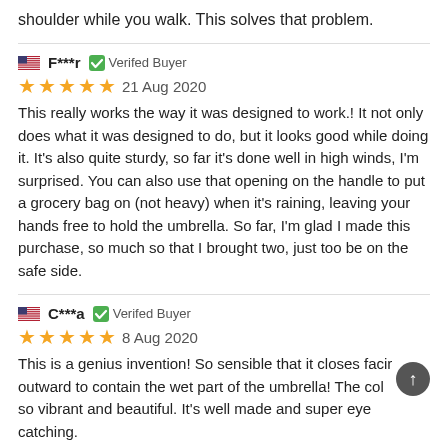shoulder while you walk. This solves that problem.
F***r · Verifed Buyer
★★★★★ 21 Aug 2020
This really works the way it was designed to work.! It not only does what it was designed to do, but it looks good while doing it. It's also quite sturdy, so far it's done well in high winds, I'm surprised. You can also use that opening on the handle to put a grocery bag on (not heavy) when it's raining, leaving your hands free to hold the umbrella. So far, I'm glad I made this purchase, so much so that I brought two, just too be on the safe side.
C***a · Verifed Buyer
★★★★★ 8 Aug 2020
This is a genius invention! So sensible that it closes facir outward to contain the wet part of the umbrella! The col e so vibrant and beautiful. It's well made and super eye catching.